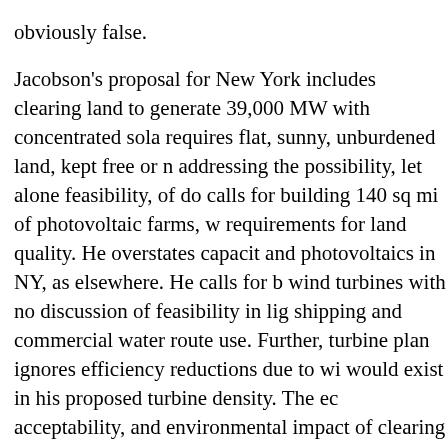obviously false.
Jacobson's proposal for New York includes clearing land to generate 39,000 MW with concentrated sola requires flat, sunny, unburdened land, kept free or addressing the possibility, let alone feasibility, of do calls for building 140 sq mi of photovoltaic farms, w requirements for land quality. He overstates capacit and photovoltaics in NY, as elsewhere. He calls for b wind turbines with no discussion of feasibility in lig shipping and commercial water route use. Further, turbine plan ignores efficiency reductions due to wi would exist in his proposed turbine density. The ec acceptability, and environmental impact of clearing miles of mostly-wooded land and grading it level (N another 4000 onshore turbines, and of 12,500 offsh real – but unaddressed by Jacobson – factor in deter feasibility of the proposed solution.
The element in connection and the f